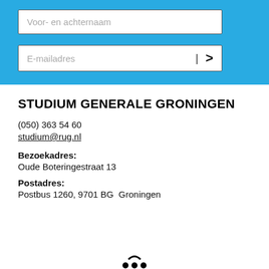[Figure (screenshot): Blue form section with two input fields: 'Voor- en achternaam' (name field) and 'E-mailadres' (email field with a submit arrow button)]
STUDIUM GENERALE GRONINGEN
(050) 363 54 60
studium@rug.nl
Bezoekadres:
Oude Boteringestraat 13
Postadres:
Postbus 1260, 9701 BG  Groningen
[Figure (logo): Partial logo visible at bottom]